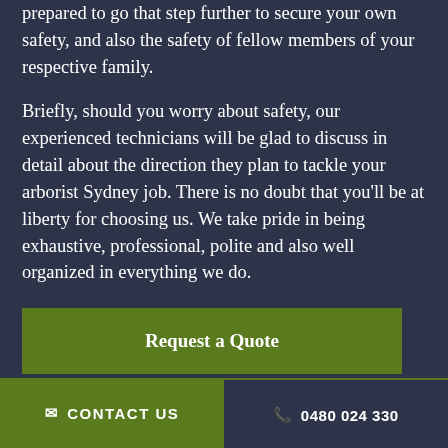prepared to go that step further to secure your own safety, and also the safety of fellow members of your respective family.
Briefly, should you worry about safety, our experienced technicians will be glad to discuss in detail about the direction they plan to tackle your arborist Sydney job. There is no doubt that you'll be at liberty for choosing us. We take pride in being exhaustive, professional, polite and also well organized in everything we do.
Request a Quote
✉ CONTACT US   📞 0480 024 330